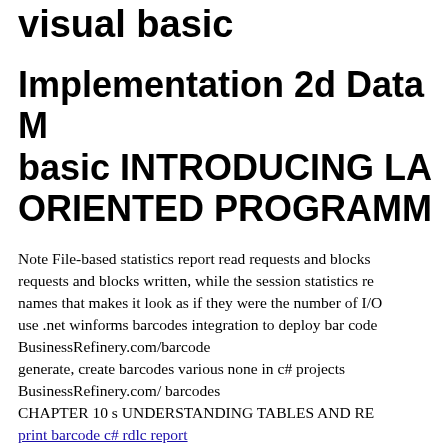visual basic
Implementation 2d Data Matrix visual basic INTRODUCING LANGUAGE ORIENTED PROGRAMMING
Note File-based statistics report read requests and blocks requests and blocks written, while the session statistics re names that makes it look as if they were the number of I/O use .net winforms barcodes integration to deploy bar code BusinessRefinery.com/barcode generate, create barcodes various none in c# projects BusinessRefinery.com/ barcodes CHAPTER 10 s UNDERSTANDING TABLES AND RE print barcode c# rdlc report using barcode creator for rdlc control to generate, create b BusinessRefinery.com/ bar code use microsoft excel barcode creation to print barcodes in BusinessRefinery.com/barcode Property